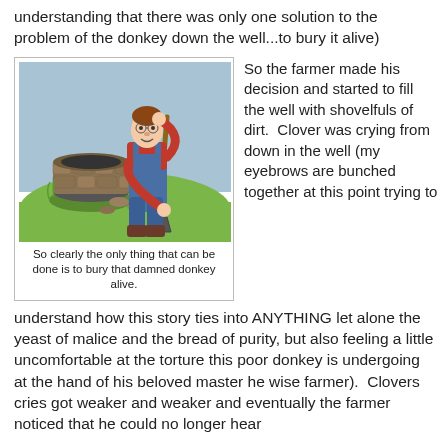understanding that there was only one solution to the problem of the donkey down the well...to bury it alive)
[Figure (illustration): Cartoon illustration of a farmer in blue overalls and red shirt, scratching his head with one hand and holding a shovel with the other, standing next to a stone-lined well.]
So clearly the only thing that can be done is to bury that damned donkey alive.
So the farmer made his decision and started to fill the well with shovelfuls of dirt.  Clover was crying from down in the well (my eyebrows are bunched together at this point trying to understand how this story ties into ANYTHING let alone the yeast of malice and the bread of purity, but also feeling a little uncomfortable at the torture this poor donkey is undergoing at the hand of his beloved master he wise farmer).  Clovers cries got weaker and weaker and eventually the farmer noticed that he could no longer hear